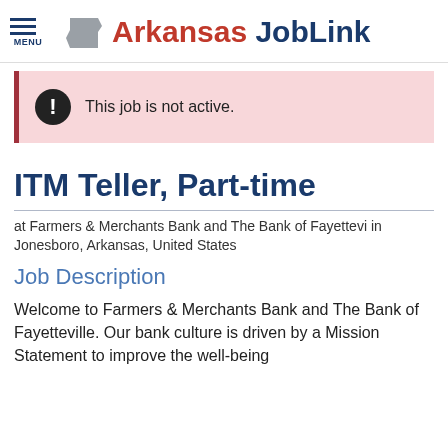MENU | Arkansas JobLink
This job is not active.
ITM Teller, Part-time
at Farmers & Merchants Bank and The Bank of Fayettevi in Jonesboro, Arkansas, United States
Job Description
Welcome to Farmers & Merchants Bank and The Bank of Fayetteville. Our bank culture is driven by a Mission Statement to improve the well-being